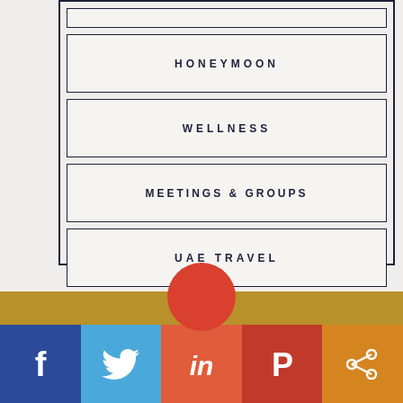HONEYMOON
WELLNESS
MEETINGS & GROUPS
UAE TRAVEL
[Figure (infographic): Social media share bar with Facebook, Twitter, LinkedIn, Pinterest, and share buttons at the bottom of the page, with a gold bar above and a red circle overlapping.]